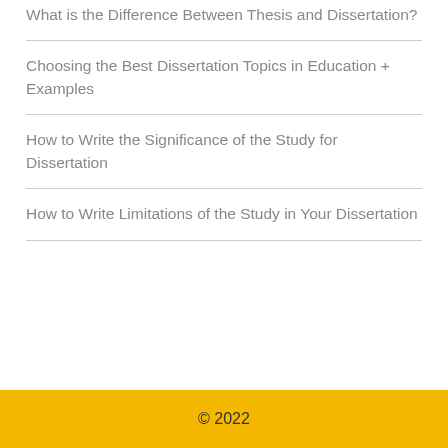What is the Difference Between Thesis and Dissertation?
Choosing the Best Dissertation Topics in Education + Examples
How to Write the Significance of the Study for Dissertation
How to Write Limitations of the Study in Your Dissertation
© 2022